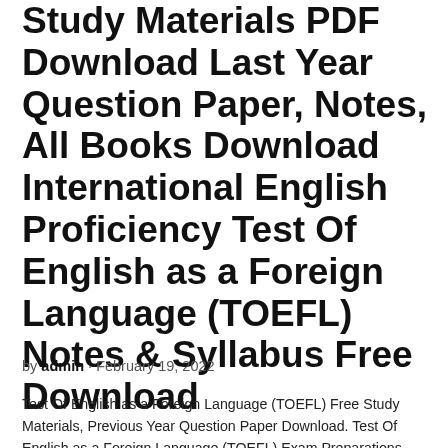Study Materials PDF Download Last Year Question Paper, Notes, All Books Download International English Proficiency Test Of English as a Foreign Language (TOEFL) Notes & Syllabus Free Download
by admin · February 19, 2022
Test Of English as a Foreign Language (TOEFL) Free Study Materials, Previous Year Question Paper Download. Test Of English as a Foreign Language (TOEFL) Exam Preparations,